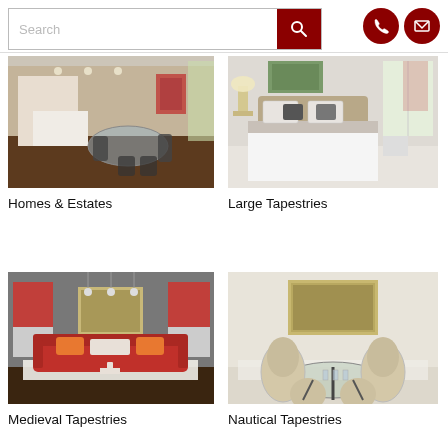[Figure (screenshot): Search bar with dark red search button and two circular dark red icon buttons (phone and envelope) on the right]
[Figure (photo): Interior photo of a modern dining/kitchen area with glass table and dark chairs]
Homes & Estates
[Figure (photo): Interior photo of a bedroom with white bedding and natural light from windows]
Large Tapestries
[Figure (photo): Living room interior with red sofa, orange pillows, and a tapestry on the wall between two red-shaded windows]
Medieval Tapestries
[Figure (photo): Dining area with cream/beige chairs around a glass table, framed painting on wall]
Nautical Tapestries